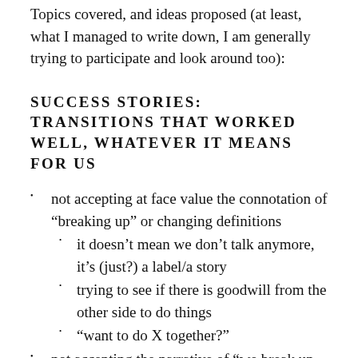Topics covered, and ideas proposed (at least, what I managed to write down, I am generally trying to participate and look around too):
SUCCESS STORIES: TRANSITIONS THAT WORKED WELL, WHATEVER IT MEANS FOR US
not accepting at face value the connotation of “breaking up” or changing definitions
it doesn’t mean we don’t talk anymore, it’s (just?) a label/a story
trying to see if there is goodwill from the other side to do things
“want to do X together?”
not accepting the narrative of “we break up